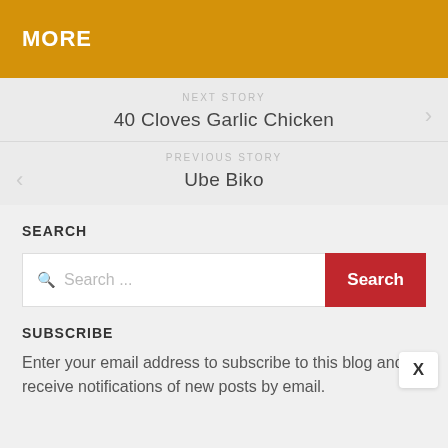MORE
NEXT STORY
40 Cloves Garlic Chicken
PREVIOUS STORY
Ube Biko
SEARCH
Search ...
SUBSCRIBE
Enter your email address to subscribe to this blog and receive notifications of new posts by email.